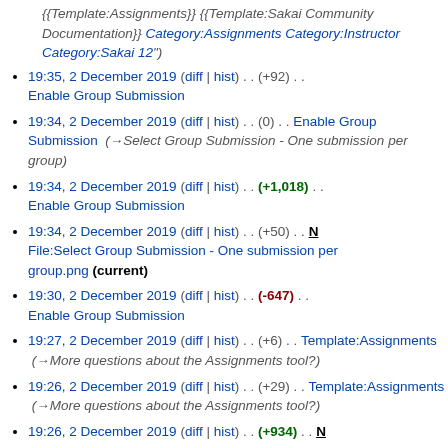{{Template:Assignments}} {{Template:Sakai Community Documentation}} Category:Assignments Category:Instructor Category:Sakai 12")
19:35, 2 December 2019 (diff | hist) . . (+92) . . Enable Group Submission
19:34, 2 December 2019 (diff | hist) . . (0) . . Enable Group Submission ( →Select Group Submission - One submission per group)
19:34, 2 December 2019 (diff | hist) . . (+1,018) . . Enable Group Submission
19:34, 2 December 2019 (diff | hist) . . (+50) . . N File:Select Group Submission - One submission per group.png (current)
19:30, 2 December 2019 (diff | hist) . . (-647) . . Enable Group Submission
19:27, 2 December 2019 (diff | hist) . . (+6) . . Template:Assignments ( →More questions about the Assignments tool?)
19:26, 2 December 2019 (diff | hist) . . (+29) . . Template:Assignments ( →More questions about the Assignments tool?)
19:26, 2 December 2019 (diff | hist) . . (+934) . . N